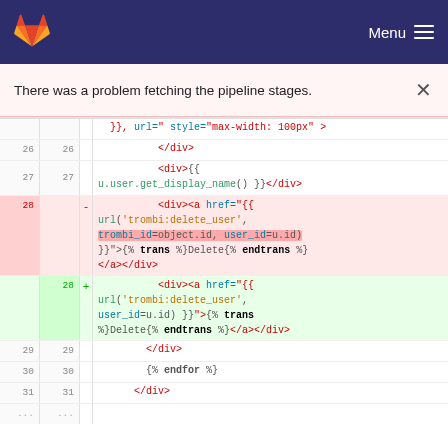GitLab — Menu
There was a problem fetching the pipeline stages.
[Figure (screenshot): GitLab diff view showing template code changes, lines 26-31, with a deleted line 28 containing trombi_id=object.id and an added line 28 without trombi_id parameter]